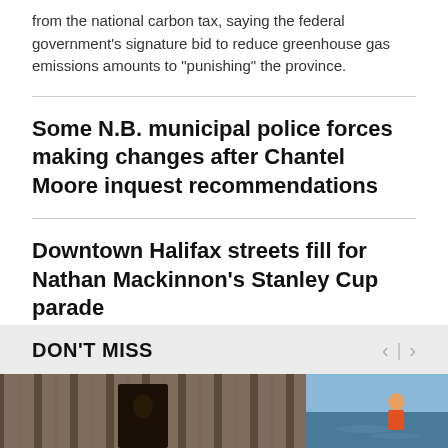from the national carbon tax, saying the federal government's signature bid to reduce greenhouse gas emissions amounts to "punishing" the province.
Some N.B. municipal police forces making changes after Chantel Moore inquest recommendations
Downtown Halifax streets fill for Nathan Mackinnon's Stanley Cup parade
3 hr ago
DON'T MISS
[Figure (photo): Two image thumbnails below the DON'T MISS section header — left image shows a dark wooden structure with a figure, right image shows a person near water.]